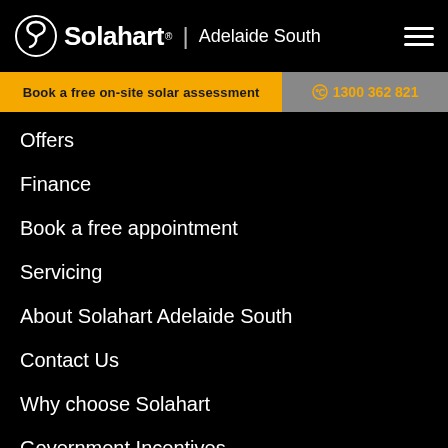Solahart Adelaide South
Book a free on-site solar assessment
1300 362 821
Offers
Finance
Book a free appointment
Servicing
About Solahart Adelaide South
Contact Us
Why choose Solahart
Government Incentives
Our Products
Solar Power